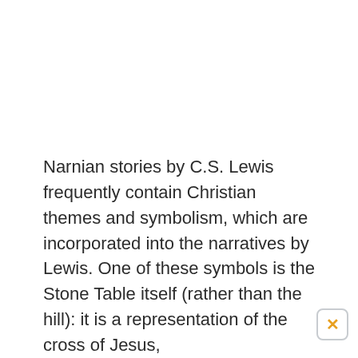Narnian stories by C.S. Lewis frequently contain Christian themes and symbolism, which are incorporated into the narratives by Lewis. One of these symbols is the Stone Table itself (rather than the hill): it is a representation of the cross of Jesus,